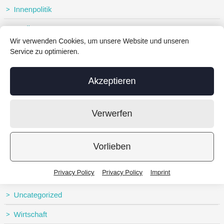> Innenpolitik
> Media
Wir verwenden Cookies, um unsere Website und unseren Service zu optimieren.
Akzeptieren
Verwerfen
Vorlieben
Privacy Policy  Privacy Policy  Imprint
> Uncategorized
> Wirtschaft